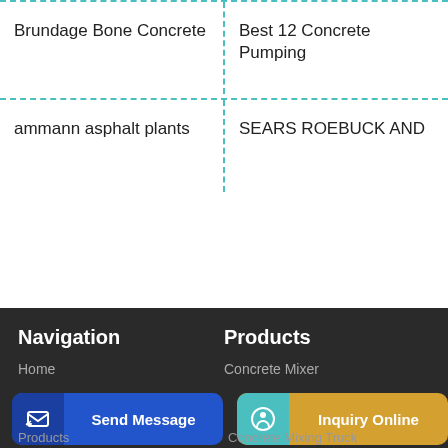Brundage Bone Concrete
Best 12 Concrete Pumping
ammann asphalt plants
SEARS ROEBUCK AND
Navigation
Products
Home
Concrete Mixer
Products
Concrete Mixing Truck
Send Message
Inquiry Online